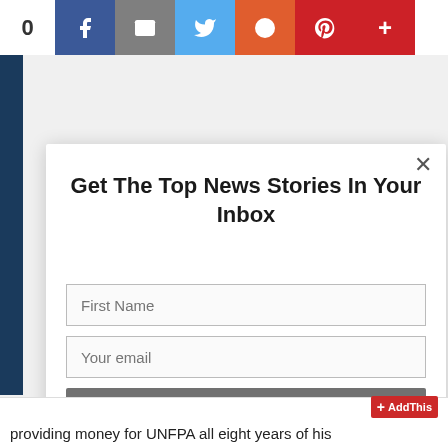[Figure (screenshot): Social sharing bar at the top with count '0', Facebook, email, Twitter, Reddit, Pinterest, and more (+) buttons]
Get The Top News Stories In Your Inbox
[Figure (screenshot): Newsletter subscription form with First Name field, Your email field, and Subscribe! button inside a modal dialog with an X close button]
providing money for UNFPA all eight years of his